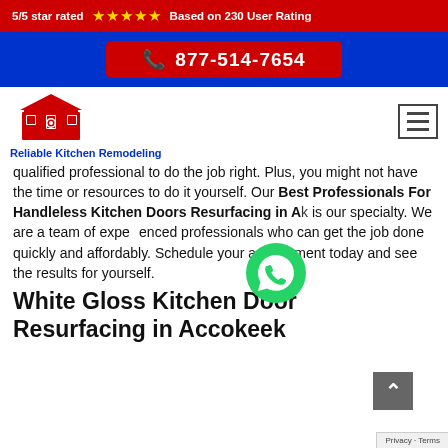5/5 star rated ★★★★★ Based on 230 User Rating
877-514-7654
[Figure (logo): Reliable Kitchen Remodeling logo with red house/kitchen icon and blue text]
qualified professional to do the job right. Plus, you might not have the time or resources to do it yourself. Our Best Professionals For Handleless Kitchen Doors Resurfacing in Accokeek is our specialty. We are a team of experienced professionals who can get the job done quickly and affordably. Schedule your appointment today and see the results for yourself.
White Gloss Kitchen Door Resurfacing in Accokeek